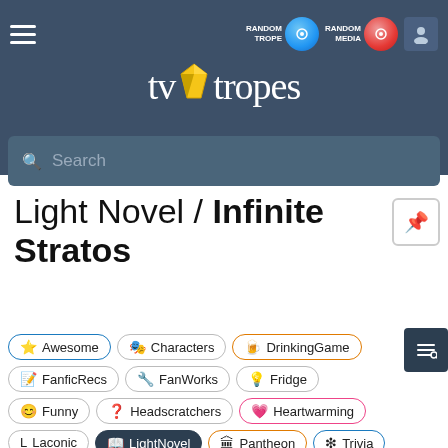[Figure (screenshot): TV Tropes website header with navigation bar, hamburger menu, Random Trope and Random Media buttons, user icon, TV Tropes logo with gem icon, and search bar]
Light Novel / Infinite Stratos
Awesome
Characters
DrinkingGame
FanficRecs
FanWorks
Fridge
Funny
Headscratchers
Heartwarming
Laconic
LightNovel
Pantheon
Trivia
WMG
YMMV
Haiku
Create New